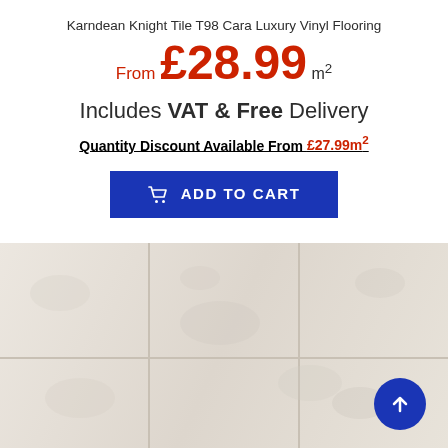Karndean Knight Tile T98 Cara Luxury Vinyl Flooring
From £28.99 m²
Includes VAT & Free Delivery
Quantity Discount Available From £27.99m²
[Figure (other): Blue Add to Cart button with shopping cart icon]
[Figure (photo): Beige/cream luxury vinyl tile flooring laid in a grid pattern, showing Karndean Knight Tile T98 Cara product]